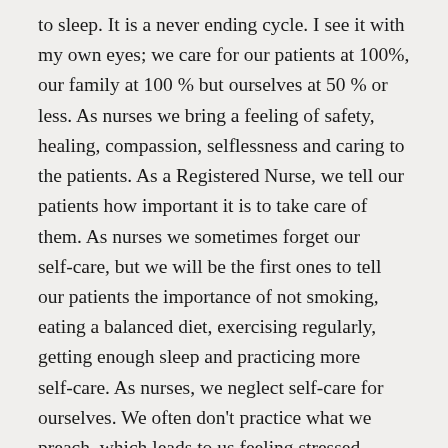to sleep. It is a never ending cycle. I see it with my own eyes; we care for our patients at 100%, our family at 100 % but ourselves at 50 % or less. As nurses we bring a feeling of safety, healing, compassion, selflessness and caring to the patients. As a Registered Nurse, we tell our patients how important it is to take care of them. As nurses we sometimes forget our self-care, but we will be the first ones to tell our patients the importance of not smoking, eating a balanced diet, exercising regularly, getting enough sleep and practicing more self-care. As nurses, we neglect self-care for ourselves. We often don't practice what we preach, which leads to us feeling stressed, overworked, burned out with life and work, which often leads to increased health problems.
Self-care is increasing your physical, mental, emotional